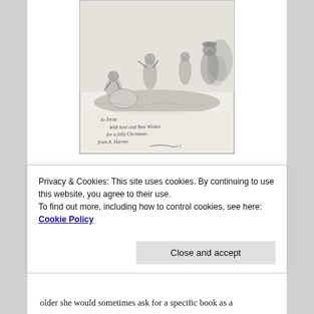[Figure (illustration): A pen-and-ink style illustration showing children playing outdoors, with a handwritten inscription reading: 'to Irene, With love and Best Wishes for a jolly Christmas, from A. Harvey.' with a signature flourish.]
She got books from quite a range of sources. At about ten or eleven she benefited from this special offer,
A man came to the door getting you to buy the Daily
Privacy & Cookies: This site uses cookies. By continuing to use this website, you agree to their use.
To find out more, including how to control cookies, see here: Cookie Policy
Close and accept
older she would sometimes ask for a specific book as a